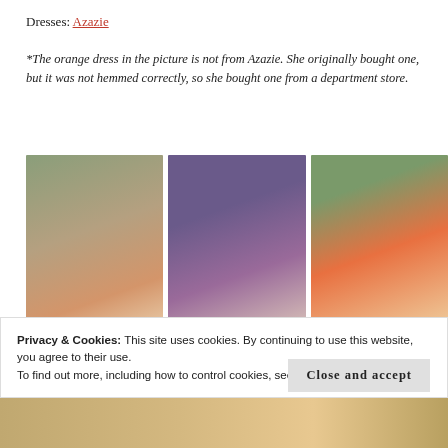Dresses: Azazie
*The orange dress in the picture is not from Azazie. She originally bought one, but it was not hemmed correctly, so she bought one from a department store.
[Figure (photo): Three side-by-side wedding photos showing bridesmaids (in salmon/coral, purple, and orange dresses) posing with the bride outdoors with string lights in the background.]
Privacy & Cookies: This site uses cookies. By continuing to use this website, you agree to their use.
To find out more, including how to control cookies, see here: Cookie Policy
[Figure (photo): Bottom strip showing a partial wedding photo.]